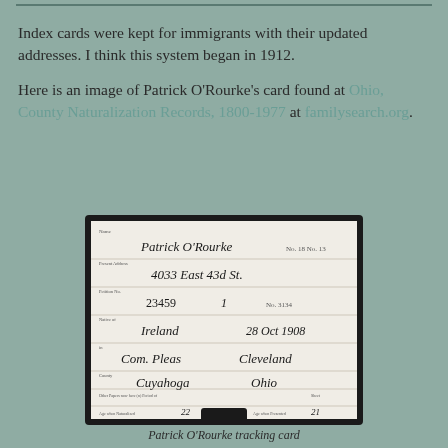Index cards were kept for immigrants with their updated addresses. I think this system began in 1912.
Here is an image of Patrick O'Rourke's card found at Ohio, County Naturalization Records, 1800-1977 at familysearch.org.
[Figure (photo): A handwritten index card for Patrick O'Rourke showing name, address (4033 East 43rd St.), petition number 23459, birthplace Ireland, date 28 Oct 1908, Com. Pleas court, Cleveland city, Cuyahoga county, Ohio state.]
Patrick O'Rourke tracking card